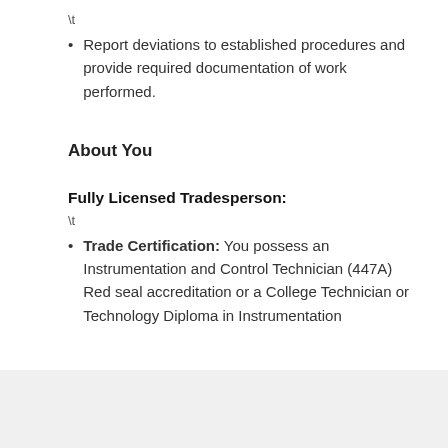\t
Report deviations to established procedures and provide required documentation of work performed.
About You
Fully Licensed Tradesperson:
\t
Trade Certification: You possess an Instrumentation and Control Technician (447A) Red seal accreditation or a College Technician or Technology Diploma in Instrumentation
Send job